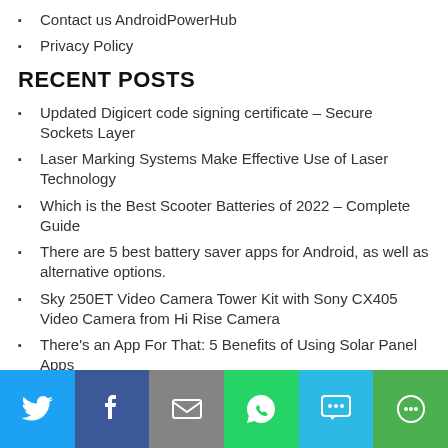Contact us AndroidPowerHub
Privacy Policy
RECENT POSTS
Updated Digicert code signing certificate – Secure Sockets Layer
Laser Marking Systems Make Effective Use of Laser Technology
Which is the Best Scooter Batteries of 2022 – Complete Guide
There are 5 best battery saver apps for Android, as well as alternative options.
Sky 250ET Video Camera Tower Kit with Sony CX405 Video Camera from Hi Rise Camera
There's an App For That: 5 Benefits of Using Solar Panel Apps
Top 5 Best Hologram Apps for Android and iOS Updated
Is It Better to Purchase or Lease Solar Panels?
[Figure (infographic): Social sharing bar with six buttons: Twitter (blue), Facebook (dark blue), Email (gray), WhatsApp (green), SMS (light blue), More (green)]